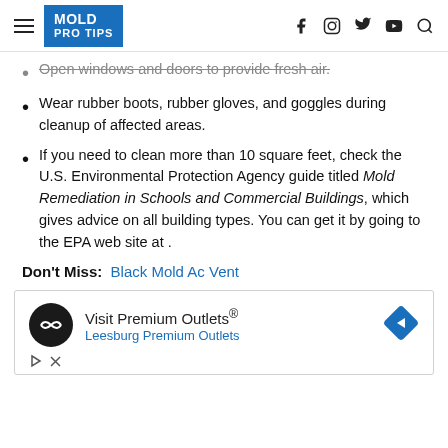MOLD PRO TIPS
Open windows and doors to provide fresh air.
Wear rubber boots, rubber gloves, and goggles during cleanup of affected areas.
If you need to clean more than 10 square feet, check the U.S. Environmental Protection Agency guide titled Mold Remediation in Schools and Commercial Buildings, which gives advice on all building types. You can get it by going to the EPA web site at .
Don't Miss: Black Mold Ac Vent
[Figure (other): Advertisement for Leesburg Premium Outlets showing Visit Premium Outlets® logo with navigation arrow icon]